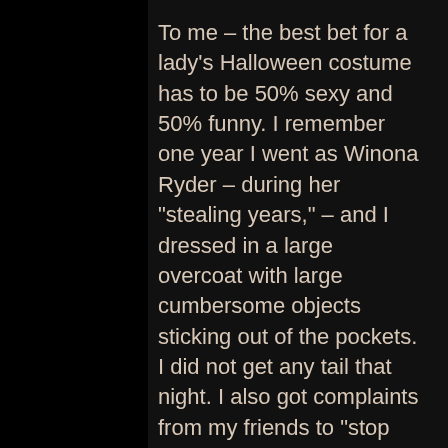To me – the best bet for a lady's Halloween costume has to be 50% sexy and 50% funny. I remember one year I went as Winona Ryder – during her "stealing years," – and I dressed in a large overcoat with large cumbersome objects sticking out of the pockets. I did not get any tail that night. I also got complaints from my friends to "stop sitting down to rest" all night long. Dressing 100% funny makes for 0% fun times.
What are the repercussions for dressing 100% sexy you may ask? Jealous ladies may stare at you sideways and call you a whore nonverbally inside of their heads all